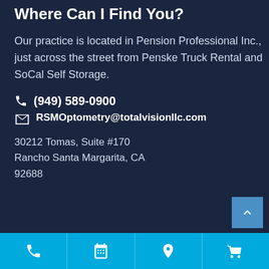Where Can I Find You?
Our practice is located in Pension Professional Inc., just across the street from Penske Truck Rental and SoCal Self Storage.
(949) 589-0900
RSMOptometry@totalvisionllc.com
30212 Tomas, Suite #170
Rancho Santa Margarita, CA 92688